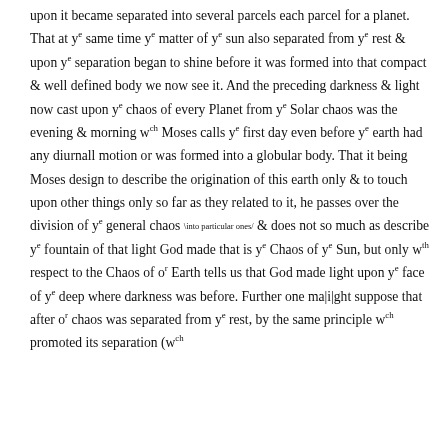upon it became separated into several parcels each parcel for a planet. That at y^e same time y^e matter of y^e sun also separated from y^e rest & upon y^e separation began to shine before it was formed into that compact & well defined body we now see it. And the preceding darkness & light now cast upon y^e chaos of every Planet from y^e Solar chaos was the evening & morning w^ch Moses calls y^e first day even before y^e earth had any diurnall motion or was formed into a globular body. That it being Moses design to describe the origination of this earth only & to touch upon other things only so far as they related to it, he passes over the division of y^e general chaos \into particular ones/ & does not so much as describe y^e fountain of that light God made that is y^e Chaos of y^e Sun, but only w^th respect to the Chaos of o^r Earth tells us that God made light upon y^e face of y^e deep where darkness was before. Further one ma|i|ght suppose that after o^r chaos was separated from y^e rest, by the same principle w^ch promoted its separation (w^ch